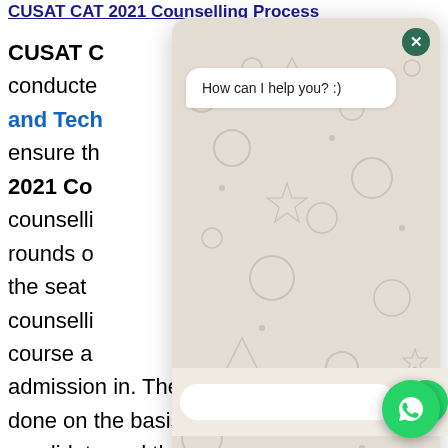CUSAT CAT 2021 Counselling Process
CUSAT CAT counselling process is conducted by Cochin University of Science and Technology. The process is to ensure that the right candidate gets the 2021 Counselling seat. The counselling will be conducted in rounds of seat allotment. During the counselling, the seat will be allotted to the counselling candidate based on the course and college they wish to get admission in. The seat allotment will be done on the basis of the preference of the candidate and the merit list prepared by the authorities.
[Figure (screenshot): WhatsApp chat widget overlay showing 'How can I help you? :)' message bubble with doodle pattern background, close button, text input field, send button, and WhatsApp icon button]